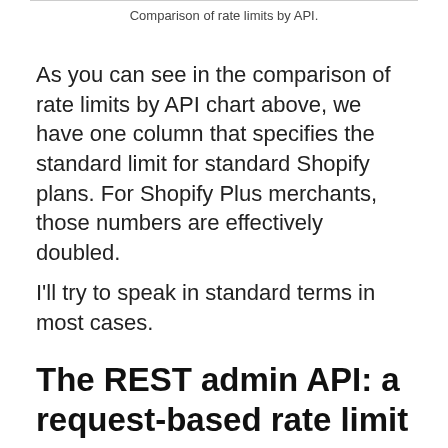Comparison of rate limits by API.
As you can see in the comparison of rate limits by API chart above, we have one column that specifies the standard limit for standard Shopify plans. For Shopify Plus merchants, those numbers are effectively doubled.
I'll try to speak in standard terms in most cases.
The REST admin API: a request-based rate limit system